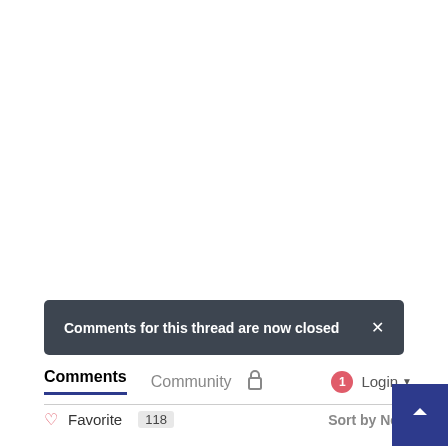Comments for this thread are now closed
Comments   Community   🔒   1   Login
♡ Favorite  118   Sort by Ne...